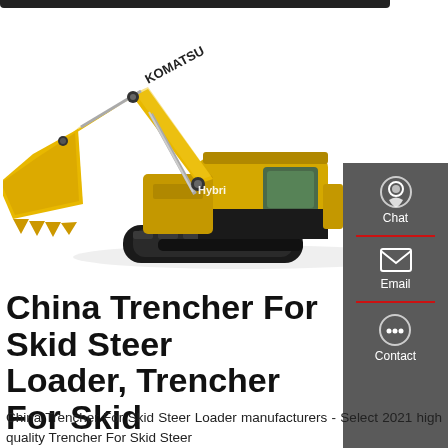[Figure (photo): Yellow Komatsu Hybrid excavator with boom, arm, and bucket extended, on crawler tracks, white background]
China Trencher For Skid Steer Loader, Trencher For Skid
China Trencher For Skid Steer Loader manufacturers - Select 2021 high quality Trencher For Skid Steer